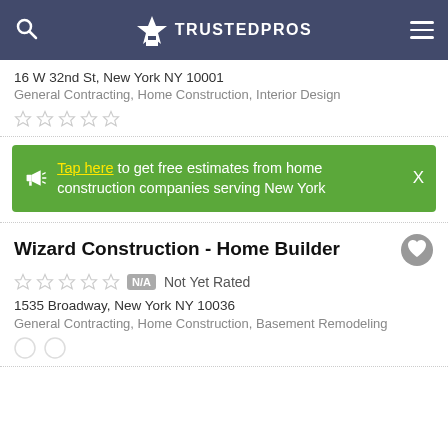TRUSTEDPROS
16 W 32nd St, New York NY 10001
General Contracting, Home Construction, Interior Design
Tap here to get free estimates from home construction companies serving New York
Wizard Construction - Home Builder
Not Yet Rated
1535 Broadway, New York NY 10036
General Contracting, Home Construction, Basement Remodeling